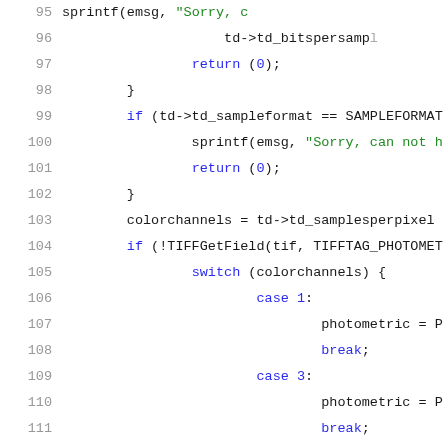[Figure (screenshot): Source code snippet (C language) showing lines 95-116 with syntax highlighting. Line numbers in gray on left, keywords in blue, string literals in green, identifiers in dark. Code involves TIFF image processing with sample format checks, colorchannels assignment, and a photometric switch statement.]